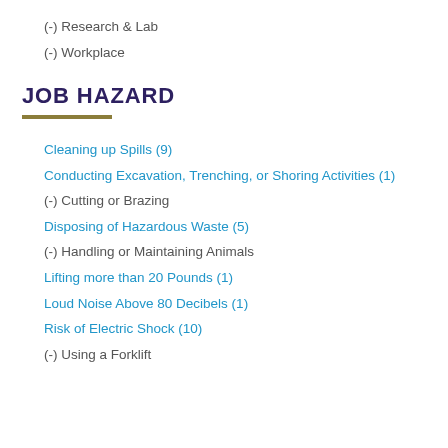(-) Research & Lab
(-) Workplace
JOB HAZARD
Cleaning up Spills (9)
Conducting Excavation, Trenching, or Shoring Activities (1)
(-) Cutting or Brazing
Disposing of Hazardous Waste (5)
(-) Handling or Maintaining Animals
Lifting more than 20 Pounds (1)
Loud Noise Above 80 Decibels (1)
Risk of Electric Shock (10)
(-) Using a Forklift